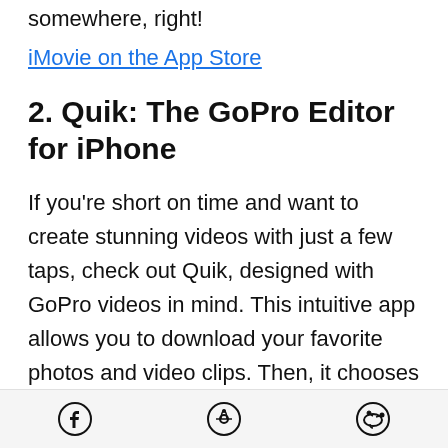somewhere, right!
iMovie on the App Store
2. Quik: The GoPro Editor for iPhone
If you’re short on time and want to create stunning videos with just a few taps, check out Quik, designed with GoPro videos in mind. This intuitive app allows you to download your favorite photos and video clips. Then, it chooses the best moments from your footage,
Facebook | Pinterest | Reddit